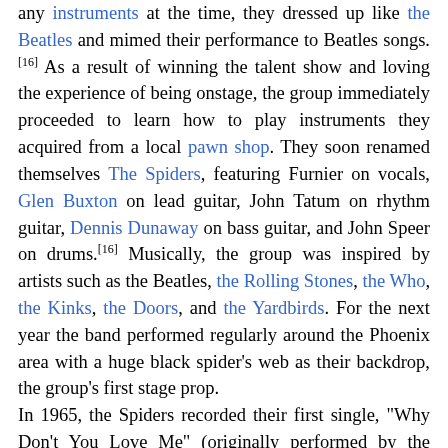any instruments at the time, they dressed up like the Beatles and mimed their performance to Beatles songs.[16] As a result of winning the talent show and loving the experience of being onstage, the group immediately proceeded to learn how to play instruments they acquired from a local pawn shop. They soon renamed themselves The Spiders, featuring Furnier on vocals, Glen Buxton on lead guitar, John Tatum on rhythm guitar, Dennis Dunaway on bass guitar, and John Speer on drums.[16] Musically, the group was inspired by artists such as the Beatles, the Rolling Stones, the Who, the Kinks, the Doors, and the Yardbirds. For the next year the band performed regularly around the Phoenix area with a huge black spider's web as their backdrop, the group's first stage prop. In 1965, the Spiders recorded their first single, "Why Don't You Love Me" (originally performed by the Blackwells), with Furnier learning the harmonica for